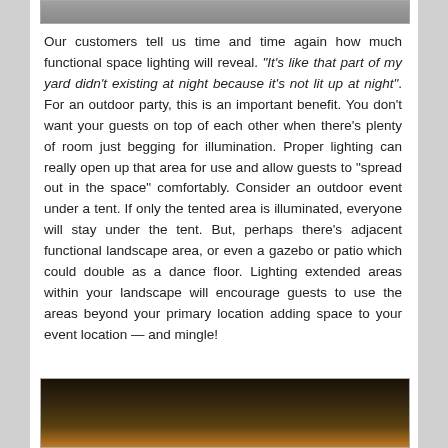[Figure (photo): Partial top of a photo showing people outdoors, cropped at top of page]
Our customers tell us time and time again how much functional space lighting will reveal. "It's like that part of my yard didn't existing at night because it's not lit up at night". For an outdoor party, this is an important benefit. You don't want your guests on top of each other when there's plenty of room just begging for illumination. Proper lighting can really open up that area for use and allow guests to "spread out in the space" comfortably. Consider an outdoor event under a tent. If only the tented area is illuminated, everyone will stay under the tent. But, perhaps there's adjacent functional landscape area, or even a gazebo or patio which could double as a dance floor. Lighting extended areas within your landscape will encourage guests to use the areas beyond your primary location adding space to your event location — and mingle!
[Figure (photo): Bottom portion of a photo showing outdoor lighting at night, warm amber glow]